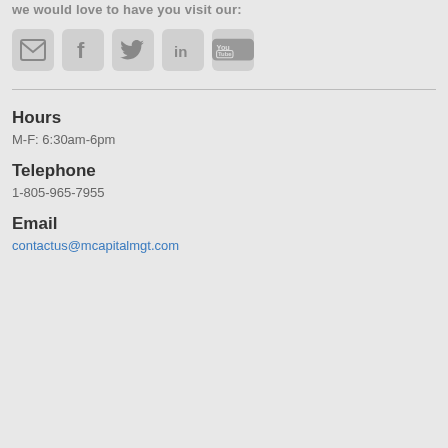we would love to have you visit our:
[Figure (illustration): Five social media icon buttons: email (envelope), Facebook (f), Twitter (bird), LinkedIn (in), YouTube (You Tube)]
Hours
M-F: 6:30am-6pm
Telephone
1-805-965-7955
Email
contactus@mcapitalmgt.com